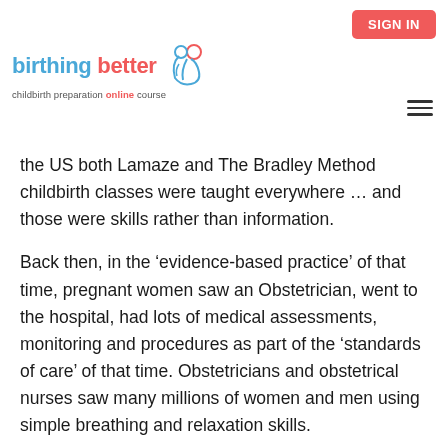SIGN IN
[Figure (logo): Birthing Better childbirth preparation online course logo with mother and baby icon]
the US both Lamaze and The Bradley Method childbirth classes were taught everywhere … and those were skills rather than information.
Back then, in the 'evidence-based practice' of that time, pregnant women saw an Obstetrician, went to the hospital, had lots of medical assessments, monitoring and procedures as part of the 'standards of care' of that time. Obstetricians and obstetrical nurses saw many millions of women and men using simple breathing and relaxation skills.